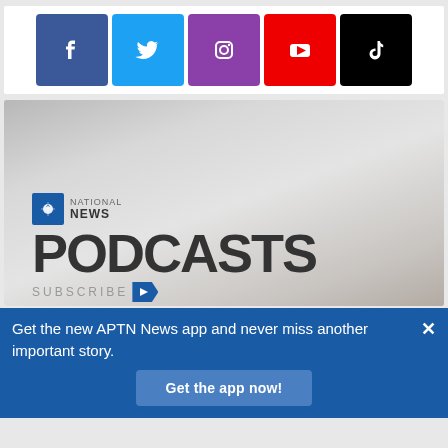[Figure (infographic): Social media icon bar with Facebook (blue), Twitter (light blue), Instagram (purple), YouTube (red), TikTok (black) icons]
[Figure (infographic): APTN National News Podcasts promotional image with gradient background, APTN logo, text NATIONAL NEWS PODCASTS SUBSCRIBE with blue arrow]
Get the new APTN News app and never miss another important story.
Get the app now!